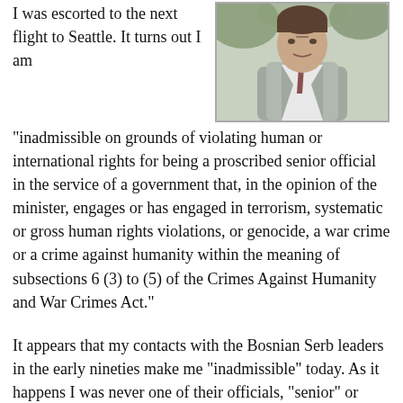I was escorted to the next flight to Seattle. It turns out I am
[Figure (photo): Portrait photo of a man in a grey suit jacket and white shirt, photographed outdoors with green foliage in background]
“inadmissible on grounds of violating human or international rights for being a proscribed senior official in the service of a government that, in the opinion of the minister, engages or has engaged in terrorism, systematic or gross human rights violations, or genocide, a war crime or a crime against humanity within the meaning of subsections 6 (3) to (5) of the Crimes Against Humanity and War Crimes Act.”
It appears that my contacts with the Bosnian Serb leaders in the early nineties make me “inadmissible” today. As it happens I was never one of their officials, “senior” or otherwise, but the story has been told often enough (most recently in one of my witness testimonies at The Hague War Crimes Tribunal). The immigration officer at Vancouver decided that what was good for The